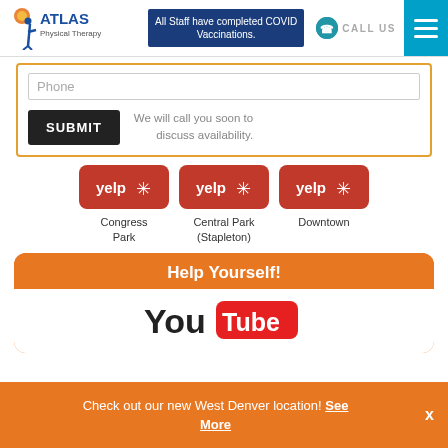ATLAS Physical Therapy
All Staff have completed COVID Vaccinations.
CALL US
Phone
SUBMIT
We will call you soon to discuss availability.
[Figure (logo): Yelp logo button - Congress Park]
Congress Park
[Figure (logo): Yelp logo button - Central Park (Stapleton)]
Central Park (Stapleton)
[Figure (logo): Yelp logo button - Downtown]
Downtown
Help Yourself!
[Figure (logo): YouTube logo]
Check out our new West Denver location! See More